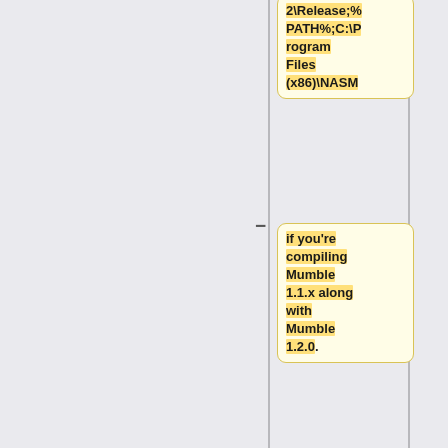[Figure (flowchart): A flowchart diff view showing two columns of flow steps. Left column (yellow boxes): top box shows '2\Release;%PATH%;C:\Program Files (x86)\NASM', second box shows 'if you're compiling Mumble 1.1.x along with Mumble 1.2.0.', third is empty gray, fourth shows 'Change Program Files (x86) to Program Files if you're on Win32.' Right column (blue box): 'You should now have a working .msi installer.' with empty gray box above. Minus and plus symbols indicate removed/added steps.]